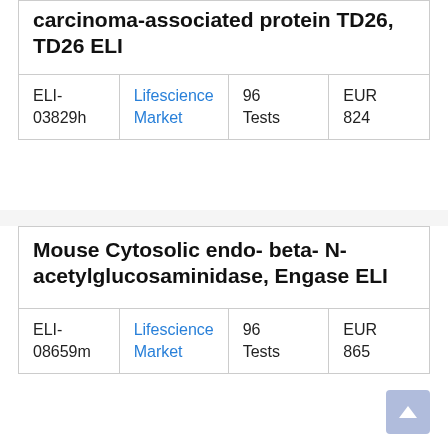carcinoma-associated protein TD26, TD26 ELI
|  |  |  |  |
| --- | --- | --- | --- |
| ELI-03829h | Lifescience Market | 96 Tests | EUR 824 |
Mouse Cytosolic endo- beta- N-acetylglucosaminidase, Engase ELI
|  |  |  |  |
| --- | --- | --- | --- |
| ELI-08659m | Lifescience Market | 96 Tests | EUR 865 |